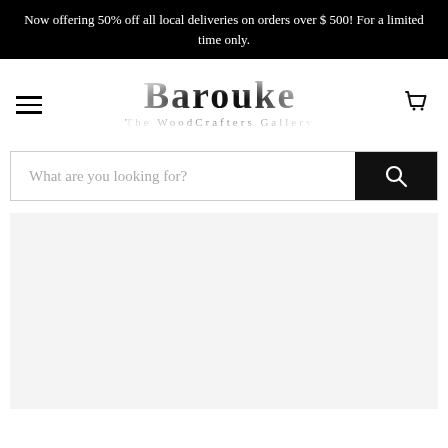Now offering 50% off all local deliveries on orders over $500! For a limited time only.
[Figure (logo): Barouke – The WoodCrafters Gallery logo with hamburger menu icon on left and cart icon on right]
What are you looking for?